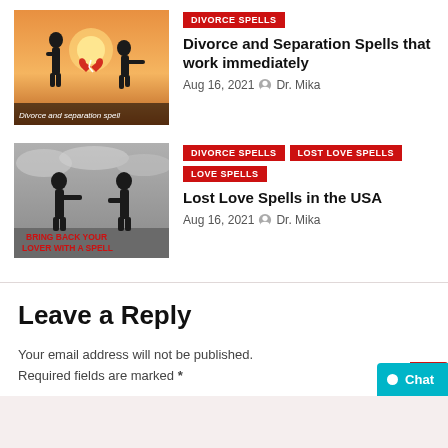[Figure (illustration): Silhouette of couple separating with broken heart on orange sunset background, caption 'Divorce and separation spell']
DIVORCE SPELLS
Divorce and Separation Spells that work immediately
Aug 16, 2021 Dr. Mika
[Figure (illustration): Black and white silhouette of two people facing away from each other, text 'BRING BACK YOUR LOVER WITH A SPELL' in red]
DIVORCE SPELLS LOST LOVE SPELLS LOVE SPELLS
Lost Love Spells in the USA
Aug 16, 2021 Dr. Mika
Leave a Reply
Your email address will not be published. Required fields are marked *